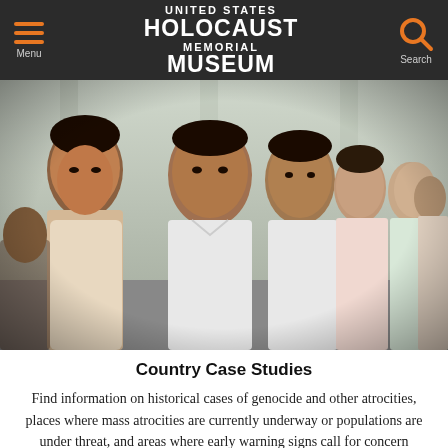UNITED STATES HOLOCAUST MEMORIAL MUSEUM
[Figure (photo): A line of people, predominantly men and women of Southeast Asian appearance, standing in a queue. The foreground shows a woman on the left and a young man in the center looking toward the camera. More people extend into the background in a covered outdoor area.]
Country Case Studies
Find information on historical cases of genocide and other atrocities, places where mass atrocities are currently underway or populations are under threat, and areas where early warning signs call for concern